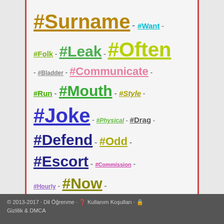[Figure (other): A tag/hashtag cloud with words in different colors and sizes including #Surname, #Want, #Folk, #Leak, #Often, #Bladder, #Communicate, #Run, #Mouth, #Style, #Joke, #Physical, #Drag, #Defend, #Odd, #Escort, #Commission, #Hourly, #Now, #Abolition, #Cone, #Severe]
© 2013-2017 · Dil Öğrenme · ❓ Kullanım Koşulları · 🔒 Gizlilik & DMCA